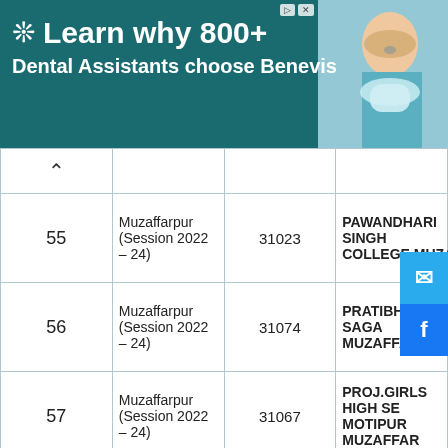[Figure (other): Advertisement banner: Learn why 800+ Dental Assistants choose Benevis, with a dental professional image on the right]
| # | Session | Code | College Name |
| --- | --- | --- | --- |
| 55 | Muzaffarpur (Session 2022 – 24) | 31023 | PAWANDHARI SINGH COLLEGE,MUZAFFAR |
| 56 | Muzaffarpur (Session 2022 – 24) | 31074 | PRATIBHA SAGA MUZAFFARPUR |
| 57 | Muzaffarpur (Session 2022 – 24) | 31067 | PROJ.GIRLS HIGH SE MOTIPUR MUZAFFAR |
| 58 | MUZAFFARPUR (Session 2022 – 24) | 31166 | PROJECT GIRLS +2 H MUZAFFARPUR |